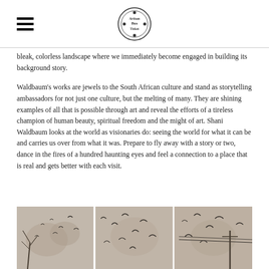[Navigation header with hamburger menu and logo]
bleak, colorless landscape where we immediately become engaged in building its background story.
Waldbaum's works are jewels to the South African culture and stand as storytelling ambassadors for not just one culture, but the melting of many. They are shining examples of all that is possible through art and reveal the efforts of a tireless champion of human beauty, spiritual freedom and the might of art. Shani Waldbaum looks at the world as visionaries do: seeing the world for what it can be and carries us over from what it was. Prepare to fly away with a story or two, dance in the fires of a hundred haunting eyes and feel a connection to a place that is real and gets better with each visit.
[Figure (photo): Triptych artwork showing birds in flight against a misty, grey-brown background with tree and power line elements visible]